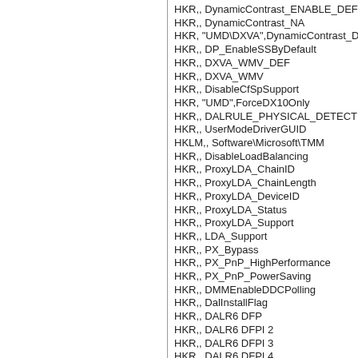HKR,, DynamicContrast_ENABLE_DEF
HKR,, DynamicContrast_NA
HKR, "UMD\DXVA",DynamicContrast_DEF
HKR,, DP_EnableSSByDefault
HKR,, DXVA_WMV_DEF
HKR,, DXVA_WMV
HKR,, DisableCfSpSupport
HKR, "UMD",ForceDX10Only
HKR,, DALRULE_PHYSICAL_DETECTION
HKR,, UserModeDriverGUID
HKLM,, Software\Microsoft\TMM
HKR,, DisableLoadBalancing
HKR,, ProxyLDA_ChainID
HKR,, ProxyLDA_ChainLength
HKR,, ProxyLDA_DeviceID
HKR,, ProxyLDA_Status
HKR,, ProxyLDA_Support
HKR,, LDA_Support
HKR,, PX_Bypass
HKR,, PX_PnP_HighPerformance
HKR,, PX_PnP_PowerSaving
HKR,, DMMEnableDDCPolling
HKR,, DalInstallFlag
HKR,, DALR6 DFP
HKR,, DALR6 DFPI 2
HKR,, DALR6 DFPI 3
HKR,, DALR6 DFPI 4
HKR,, DALR6 DFPI 5
HKR,, GDOADJR6 DFP
HKR,, GDOADJR6 DFPI 2
HKR,, GDOADJR6 DFPI 3
HKR,, GDOADJR6 DFPI 4